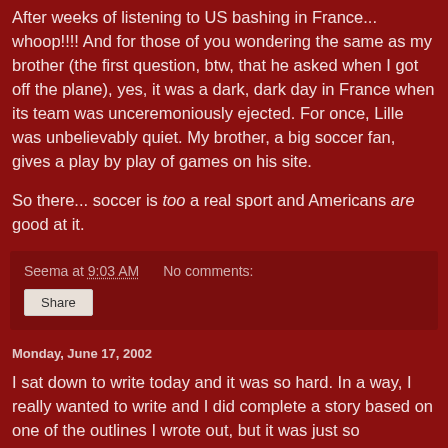After weeks of listening to US bashing in France... whoop!!!! And for those of you wondering the same as my brother (the first question, btw, that he asked when I got off the plane), yes, it was a dark, dark day in France when its team was unceremoniously ejected. For once, Lille was unbelievably quiet. My brother, a big soccer fan, gives a play by play of games on his site.
So there... soccer is too a real sport and Americans are good at it.
Seema at 9:03 AM   No comments:
Share
Monday, June 17, 2002
I sat down to write today and it was so hard. In a way, I really wanted to write and I did complete a story based on one of the outlines I wrote out, but it was just so *strange*. Imagine going over 6 weeks without writing - I think the last story I